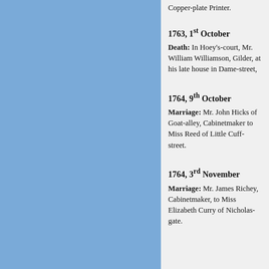Copper-plate Printer.
1763, 1st October
Death: In Hoey's-court, Mr. William Williamson, Gilder, at his late house in Dame-street,
1764, 9th October
Marriage: Mr. John Hicks of Goat-alley, Cabinetmaker to Miss Reed of Little Cuff-street.
1764, 3rd November
Marriage: Mr. James Richey, Cabinetmaker, to Miss Elizabeth Curry of Nicholas-gate.